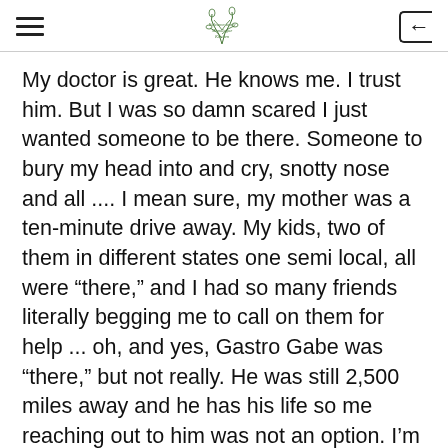[hamburger menu] [logo: Welcome to my Monologue Kitchen] [back arrow]
My doctor is great. He knows me. I trust him. But I was so damn scared I just wanted someone to be there. Someone to bury my head into and cry, snotty nose and all .... I mean sure, my mother was a ten-minute drive away. My kids, two of them in different states one semi local, all were “there,” and I had so many friends literally begging me to call on them for help ... oh, and yes, Gastro Gabe was “there,” but not really. He was still 2,500 miles away and he has his life so me reaching out to him was not an option. I’m just not that way.
And so I cried. And my anesthesiologist had me